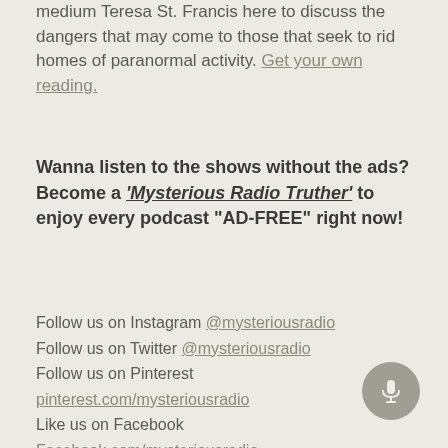medium Teresa St. Francis here to discuss the dangers that may come to those that seek to rid homes of paranormal activity. Get your own reading.
Wanna listen to the shows without the ads? Become a 'Mysterious Radio Truther' to enjoy every podcast "AD-FREE" right now!
Follow us on Instagram @mysteriousradio
Follow us on Twitter @mysteriousradio
Follow us on Pinterest pinterest.com/mysteriousradio
Like us on Facebook Facebook.com/mysteriousradio
Visit our website: